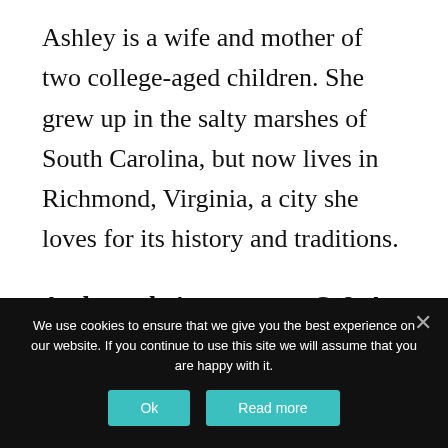Ashley is a wife and mother of two college-aged children. She grew up in the salty marshes of South Carolina, but now lives in Richmond, Virginia, a city she loves for its history and traditions.
And now let's get to our Q & A:
PS ~ You became an author later in life, as did
We use cookies to ensure that we give you the best experience on our website. If you continue to use this site we will assume that you are happy with it.